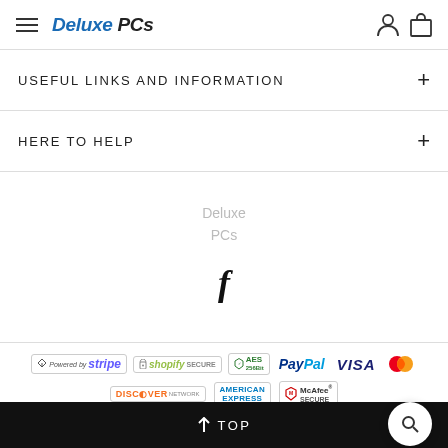Deluxe PCs
USEFUL LINKS AND INFORMATION
HERE TO HELP
Deluxe PCs
[Figure (logo): Facebook icon (f)]
[Figure (infographic): Payment security badges: Stripe, Shopify Secure, AES 256Bit, PayPal, VISA, Mastercard, Discover Network, American Express, McAfee Secure]
↑ TOP